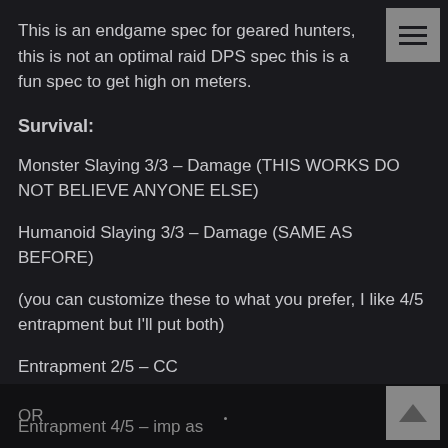This is an endgame spec for geared hunters, this is not an optimal raid DPS spec this is a fun spec to get high on meters.
Survival:
Monster Slaying 3/3 – Damage (THIS WORKS DO NOT BELIEVE ANYONE ELSE)
Humanoid Slaying 3/3 – Damage (SAME AS BEFORE)
(you can customize these to what you prefer, I like 4/5 entrapment but I'll put both)
Entrapment 2/5 – CC
Raptor Strike 2/2 – Damage increase
OR
Entrapment 4/5 – imp as